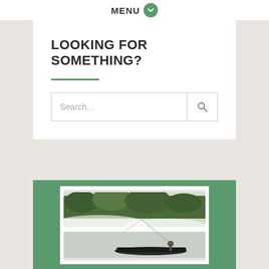MENU
LOOKING FOR SOMETHING?
[Figure (screenshot): Search bar with placeholder text 'Search...' and a magnifying glass icon button on the right]
[Figure (photo): A person fishing from a small dark boat on a misty river or lake, with dense green forest trees in the background and white mist hovering over the calm water surface. Photo is displayed as a print/film strip style image on a green background.]